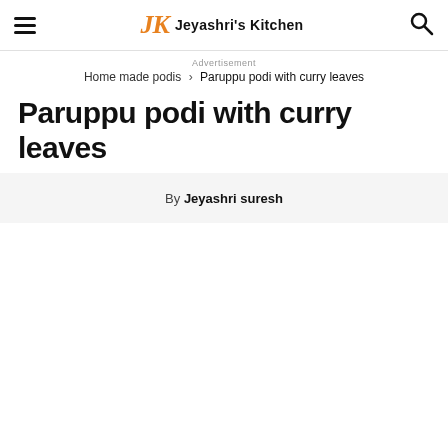Jeyashri's Kitchen
Advertisement
Home made podis › Paruppu podi with curry leaves
Paruppu podi with curry leaves
By Jeyashri suresh